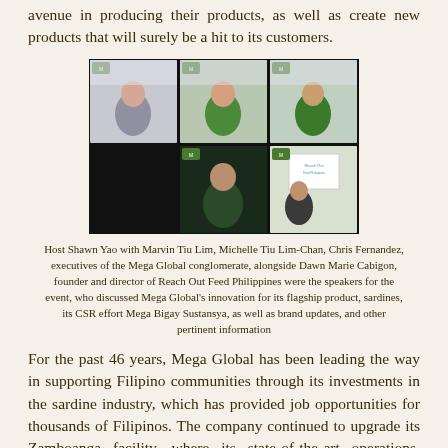avenue in producing their products, as well as create new products that will surely be a hit to its customers.
[Figure (photo): A video call screenshot showing five participants: three in the top row (a woman in gray, a woman in green, a man in green shirt) and two in the bottom row (a man in dark green, a woman in dark top), all with branded backgrounds from Mega Global.]
Host Shawn Yao with Marvin Tiu Lim, Michelle Tiu Lim-Chan, Chris Fernandez, executives of the Mega Global conglomerate, alongside Dawn Marie Cabigon, founder and director of Reach Out Feed Philippines were the speakers for the event, who discussed Mega Global's innovation for its flagship product, sardines, its CSR effort Mega Bigay Sustansya, as well as brand updates, and other pertinent information
For the past 46 years, Mega Global has been leading the way in supporting Filipino communities through its investments in the sardine industry, which has provided job opportunities for thousands of Filipinos. The company continued to upgrade its Zamboanga facility, where its state-of-the-art operations, including its can-making plant and